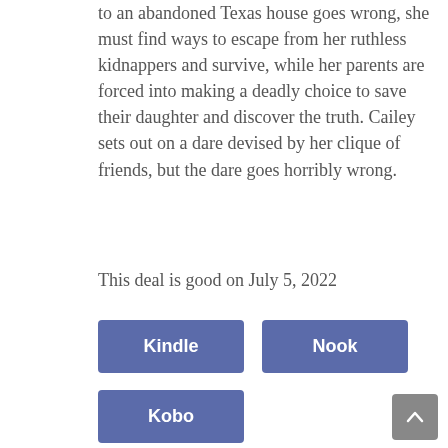to an abandoned Texas house goes wrong, she must find ways to escape from her ruthless kidnappers and survive, while her parents are forced into making a deadly choice to save their daughter and discover the truth. Cailey sets out on a dare devised by her clique of friends, but the dare goes horribly wrong.
This deal is good on July 5, 2022
Kindle
Nook
Kobo